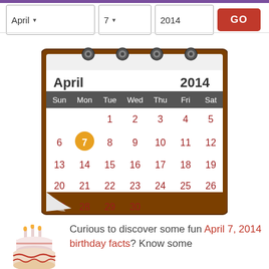[Figure (screenshot): Date selector controls: April dropdown, 7 dropdown, 2014 text field, GO button in red]
[Figure (other): Calendar page showing April 2014 with April 7 highlighted in orange circle, spiral binding at top, wooden frame, page curl at bottom]
[Figure (illustration): Birthday cake illustration with candles]
Curious to discover some fun April 7, 2014 birthday facts? Know some